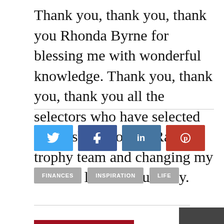Thank you, thank you, thank you Rhonda Byrne for blessing me with wonderful knowledge. Thank you, thank you, thank you all the selectors who have selected my husband for the Ranji trophy team and changing my married life miraculously.
[Figure (infographic): Social share buttons: Twitter (blue), Facebook/share (dark blue), LinkedIn (medium blue), Pinterest (red)]
FINANCES
INSPIRATION
LIFE